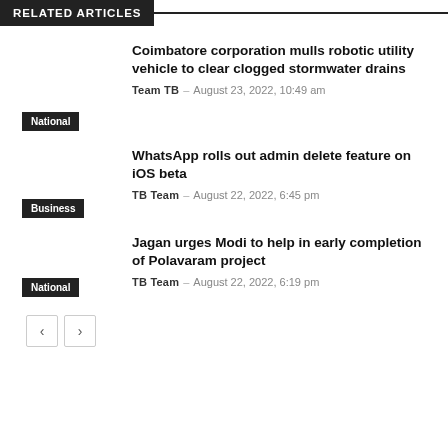RELATED ARTICLES
Coimbatore corporation mulls robotic utility vehicle to clear clogged stormwater drains
Team TB – August 23, 2022, 10:49 am
National
WhatsApp rolls out admin delete feature on iOS beta
TB Team – August 22, 2022, 6:45 pm
Business
Jagan urges Modi to help in early completion of Polavaram project
TB Team – August 22, 2022, 6:19 pm
National